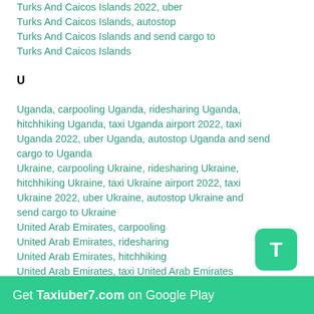Turks And Caicos Islands 2022, uber Turks And Caicos Islands, autostop Turks And Caicos Islands and send cargo to Turks And Caicos Islands
U
Uganda, carpooling Uganda, ridesharing Uganda, hitchhiking Uganda, taxi Uganda airport 2022, taxi Uganda 2022, uber Uganda, autostop Uganda and send cargo to Uganda
Ukraine, carpooling Ukraine, ridesharing Ukraine, hitchhiking Ukraine, taxi Ukraine airport 2022, taxi Ukraine 2022, uber Ukraine, autostop Ukraine and send cargo to Ukraine
United Arab Emirates, carpooling United Arab Emirates, ridesharing United Arab Emirates, hitchhiking United Arab Emirates, taxi United Arab Emirates airport 2022, taxi United Arab Emirates 2022, uber United Arab Emirates, autostop United Arab Emirates and send cargo to United Arab Emirates
United Kingdom, carpooling United Kingdom, ridesharing United Kingdom, hitchhiking United Kingdom, taxi United Kingdom airport 2022,
Get Taxiuber7.com on Google Play